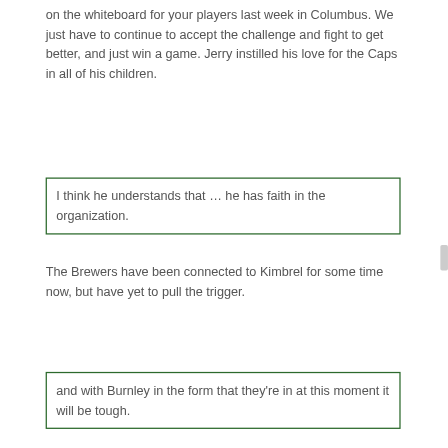on the whiteboard for your players last week in Columbus. We just have to continue to accept the challenge and fight to get better, and just win a game. Jerry instilled his love for the Caps in all of his children.
I think he understands that … he has faith in the organization.
The Brewers have been connected to Kimbrel for some time now, but have yet to pull the trigger.
and with Burnley in the form that they're in at this moment it will be tough.